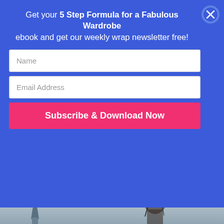Get your 5 Step Formula for a Fabulous Wardrobe ebook and get our weekly wrap newsletter free!
[Figure (other): Close button (X in circle) for popup overlay]
Name
Email Address
Subscribe & Download Now
repeatedly, is how to make your outfits stylish, but still relaxed enough to suit your casual environment?  And now let's add another ingredient to this mix – that not everyone likes wearing jeans – so what to wear instead so you don't look either over-dressed or sloppy and unstylish?...
[Figure (photo): Partial photo showing a woman with dark hair and a spire/tower in background against a cloudy sky]